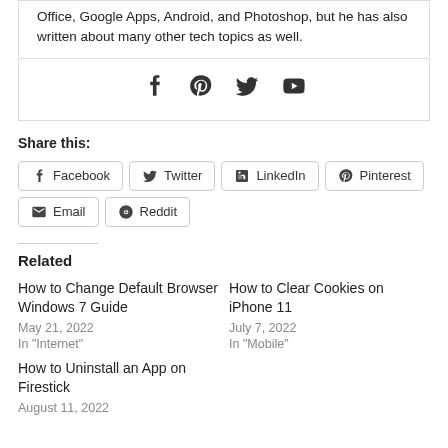Office, Google Apps, Android, and Photoshop, but he has also written about many other tech topics as well.
[Figure (illustration): Social media icons: Facebook, Pinterest, Twitter, YouTube]
Share this:
Facebook
Twitter
LinkedIn
Pinterest
Email
Reddit
Related
How to Change Default Browser Windows 7 Guide
May 21, 2022
In "Internet"
How to Clear Cookies on iPhone 11
July 7, 2022
In "Mobile"
How to Uninstall an App on Firestick
August 11, 2022